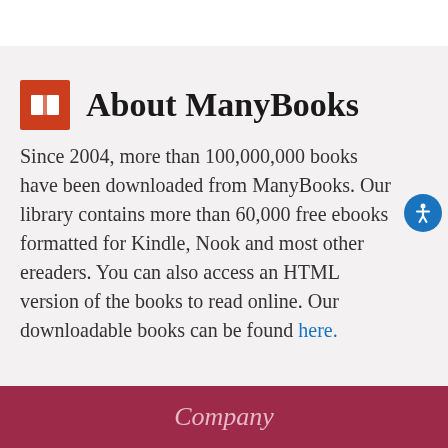About ManyBooks
Since 2004, more than 100,000,000 books have been downloaded from ManyBooks. Our library contains more than 60,000 free ebooks formatted for Kindle, Nook and most other ereaders. You can also access an HTML version of the books to read online. Our downloadable books can be found here.
Company